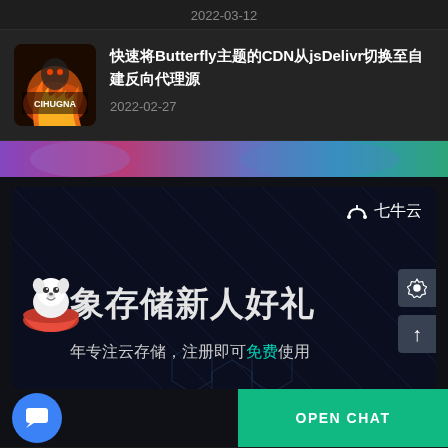2022-03-12
[Figure (screenshot): Blog article card with fire/game thumbnail image and article title about switching Butterfly theme CDN from jsDelivr to self-built reverse proxy]
快速将Butterfly主题的CDN从jsDelivr切换至自建反向代理源
2022-02-27
[Figure (screenshot): Qiniu Cloud (七牛云) advertisement banner. Shows logo top right, large Chinese text 象存储新人好礼 (Object Storage New User Gift), sub-text about 10 years cloud storage, register for free use, with mascot dog character in red bowl, and diagonal line dark background pattern.]
OPEN CHAT